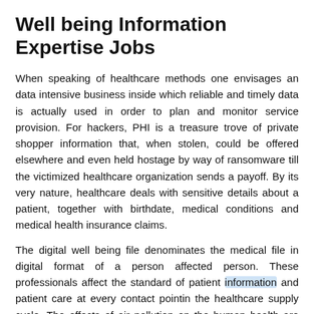Well being Information Expertise Jobs
When speaking of healthcare methods one envisages an data intensive business inside which reliable and timely data is actually used in order to plan and monitor service provision. For hackers, PHI is a treasure trove of private shopper information that, when stolen, could be offered elsewhere and even held hostage by way of ransomware till the victimized healthcare organization sends a payoff. By its very nature, healthcare deals with sensitive details about a patient, together with birthdate, medical conditions and medical health insurance claims.
The digital well being file denominates the medical file in digital format of a person affected person. These professionals affect the standard of patient information and patient care at every contact pointin the healthcare supply cycle. The effects of air pollution on the human health are many.